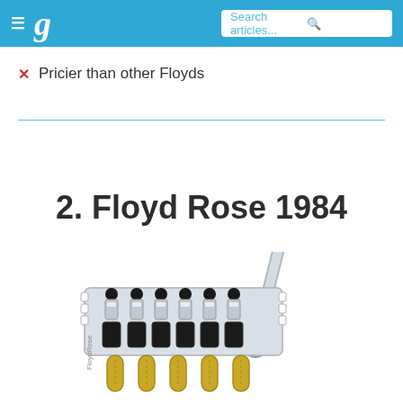g  Search articles...
Pricier than other Floyds
2. Floyd Rose 1984
[Figure (photo): Photo of a Floyd Rose 1984 tremolo bridge system with whammy bar, showing chrome saddles, string locking mechanisms, and fine tuners, with gold springs visible at the bottom]